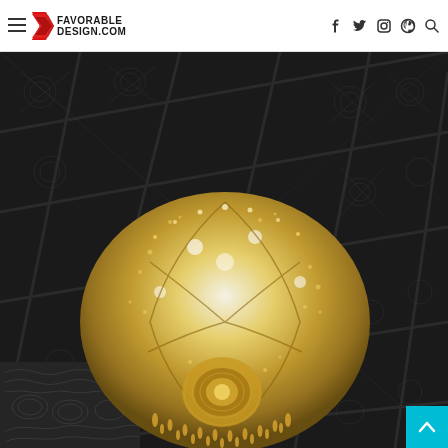FAVORABLE DESIGN.COM
[Figure (photo): A large ornate crystal chandelier hanging from an decorative embossed tin ceiling with grid pattern. The chandelier is spherical shaped, covered in crystals and beads with warm glowing lights inside. The ceiling tiles are dark/black with ornate floral and geometric relief patterns arranged in a grid, with diagonal lines crossing between tiles.]
[Figure (other): Cyan/teal back-to-top button with upward chevron arrow in the bottom-right corner]